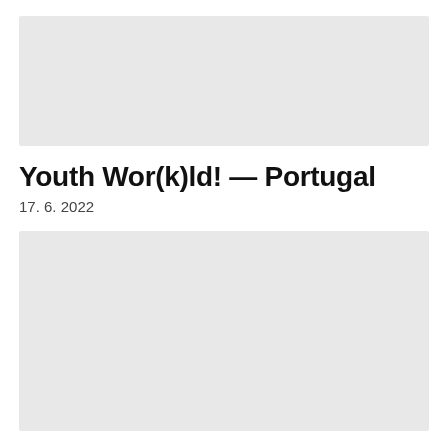[Figure (photo): Top image placeholder, light gray background]
Youth Wor(k)ld! — Portugal
17. 6. 2022
[Figure (photo): Bottom image placeholder, light gray background]
Connecting the dots: reaching f…